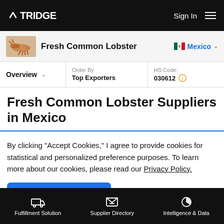TRIDGE   Sign In
Fresh Common Lobster   Mexico
Overview   Order By Top Exporters   HS Code: 030612
Fresh Common Lobster Suppliers in Mexico
By clicking “Accept Cookies,” I agree to provide cookies for statistical and personalized preference purposes. To learn more about our cookies, please read our Privacy Policy.
Accept Cookies
Fulfillment Solution   Supplier Directory   Intelligence & Data